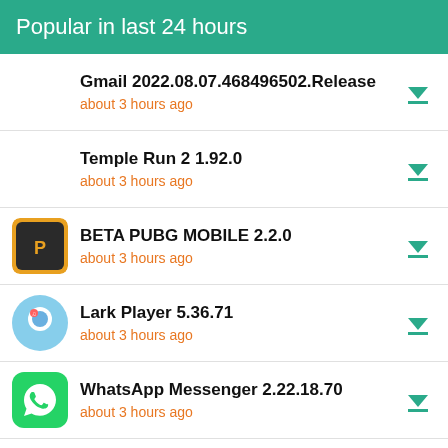Popular in last 24 hours
Gmail 2022.08.07.468496502.Release
about 3 hours ago
Temple Run 2 1.92.0
about 3 hours ago
BETA PUBG MOBILE 2.2.0
about 3 hours ago
Lark Player 5.36.71
about 3 hours ago
WhatsApp Messenger 2.22.18.70
about 3 hours ago
Google Photos 6.2.0.466519017
about 3 hours ago